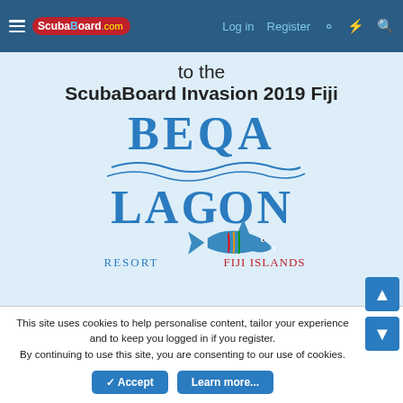ScubaBoard.com — Log in | Register
to the ScubaBoard Invasion 2019 Fiji
[Figure (logo): Beqa Lagoon Resort Fiji Islands logo — large decorative text 'BEQA' above 'LAGOON' with wave graphic, a shark jumping, 'Resort' text left and 'Fiji Islands' text right in teal/red colors]
This site uses cookies to help personalise content, tailor your experience and to keep you logged in if you register.
By continuing to use this site, you are consenting to our use of cookies.